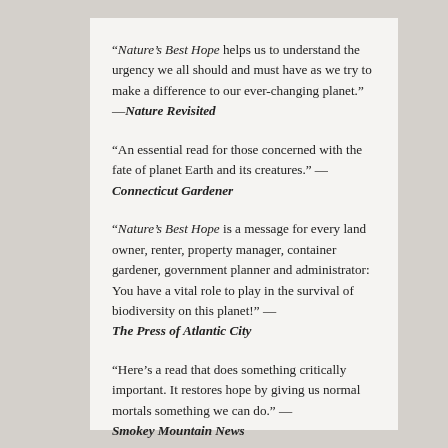“Nature’s Best Hope helps us to understand the urgency we all should and must have as we try to make a difference to our ever-changing planet.” —Nature Revisited
“An essential read for those concerned with the fate of planet Earth and its creatures.” —Connecticut Gardener
“Nature’s Best Hope is a message for every land owner, renter, property manager, container gardener, government planner and administrator: You have a vital role to play in the survival of biodiversity on this planet!” —The Press of Atlantic City
“Here’s a read that does something critically important. It restores hope by giving us normal mortals something we can do.” —Smokey Mountain News
“Nature’s best hope—is all of us.” —Yakima Herald